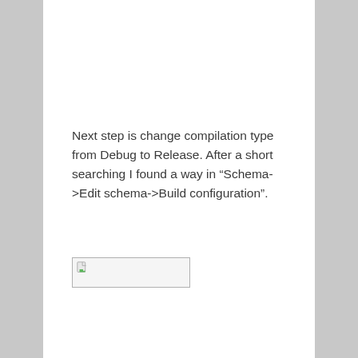Next step is change compilation type from Debug to Release. After a short searching I found a way in “Schema->Edit schema->Build configuration”.
[Figure (screenshot): A broken/missing image placeholder showing a small document icon in the upper-left corner of a rectangular image box.]